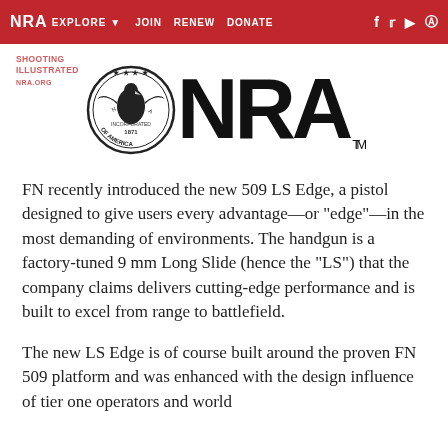NRA EXPLORE ▾  JOIN  RENEW  DONATE  f  🐦  ▶  ⓘ
[Figure (logo): NRA seal logo on left and large bold NRA text logo on right with TM mark, with Shooting Illustrated watermark overlay in red]
FN recently introduced the new 509 LS Edge, a pistol designed to give users every advantage—or "edge"—in the most demanding of environments. The handgun is a factory-tuned 9 mm Long Slide (hence the "LS") that the company claims delivers cutting-edge performance and is built to excel from range to battlefield.
The new LS Edge is of course built around the proven FN 509 platform and was enhanced with the design influence of tier one operators and world